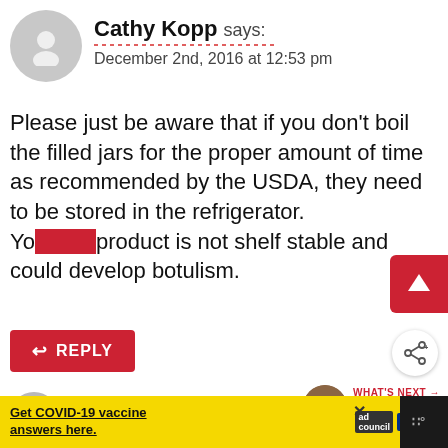[Figure (illustration): User avatar: grey circle with silhouette person icon]
Cathy Kopp says:
December 2nd, 2016 at 12:53 pm
Please just be aware that if you don't boil the filled jars for the proper amount of time as recommended by the USDA, they need to be stored in the refrigerator. Your product is not shelf stable and could develop botulism.
REPLY
[Figure (illustration): Share icon button (circle with share symbol)]
[Figure (illustration): Scroll up button (red rectangle with up arrow)]
[Figure (illustration): What's Next thumbnail - Easy Cinnamon...]
WHAT'S NEXT → Easy Cinnamon...
[Figure (illustration): User avatar: grey circle with silhouette person icon for Regina L Burkett]
Regina L Burkett says:
Get COVID-19 vaccine answers here. [ad council CDC logo]